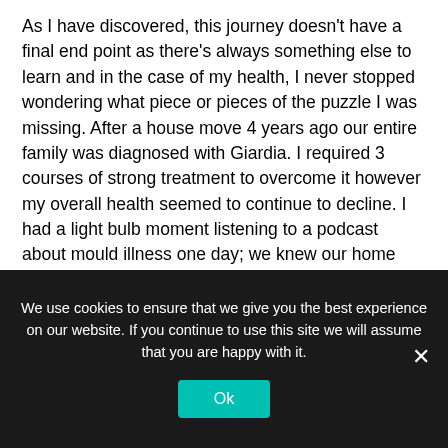As I have discovered, this journey doesn't have a final end point as there's always something else to learn and in the case of my health, I never stopped wondering what piece or pieces of the puzzle I was missing. After a house move 4 years ago our entire family was diagnosed with Giardia. I required 3 courses of strong treatment to overcome it however my overall health seemed to continue to decline. I had a light bulb moment listening to a podcast about mould illness one day; we knew our home had some drainage/mould issues but would never have considered it a real problem until too many dots were being joined! I was diagnosed with Chronic Inflammatory Response Syndrome
We use cookies to ensure that we give you the best experience on our website. If you continue to use this site we will assume that you are happy with it.